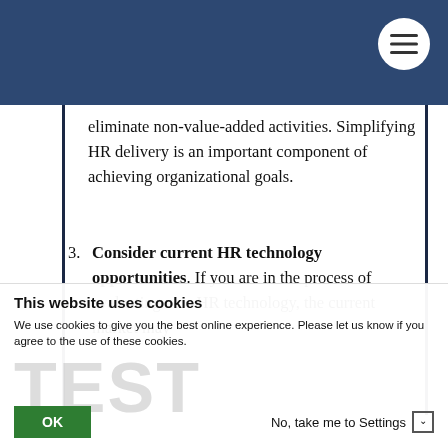eliminate non-value-added activities. Simplifying HR delivery is an important component of achieving organizational goals.
3. Consider current HR technology opportunities. If you are in the process of evaluating new HR technology, the current market may
This website uses cookies
We use cookies to give you the best online experience. Please let us know if you agree to the use of these cookies.
OK   No, take me to Settings